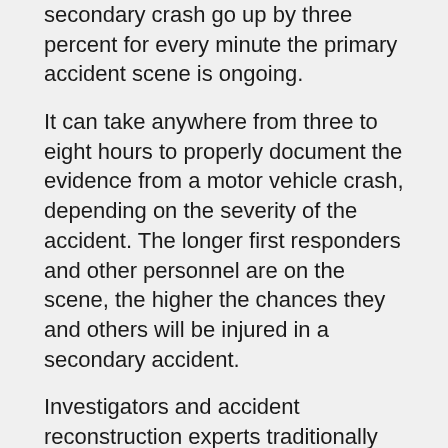secondary crash go up by three percent for every minute the primary accident scene is ongoing.
It can take anywhere from three to eight hours to properly document the evidence from a motor vehicle crash, depending on the severity of the accident. The longer first responders and other personnel are on the scene, the higher the chances they and others will be injured in a secondary accident.
Investigators and accident reconstruction experts traditionally use things like tape measures, pencil and paper, and cameras to recreate the scene of an accident, visually identifying skid marks and accident debris. This takes time and can cause massive roadway delays.
However, drone technology can cut down on this time, making evidence collection both more efficient and safer. A drone, according to Purdue, can map an accident scene in five to eight minutes. It does so by recording visuals of the scene that are later mapped into three-dimensional models.